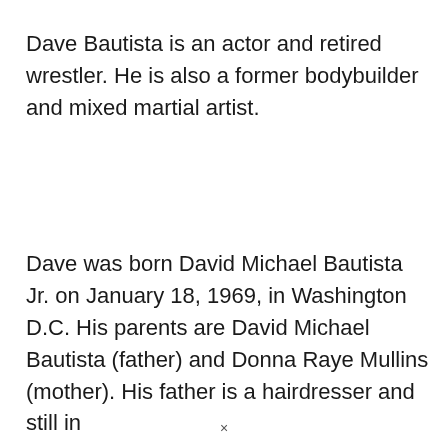Dave Bautista is an actor and retired wrestler. He is also a former bodybuilder and mixed martial artist.
Dave was born David Michael Bautista Jr. on January 18, 1969, in Washington D.C. His parents are David Michael Bautista (father) and Donna Raye Mullins (mother). His father is a hairdresser and still in